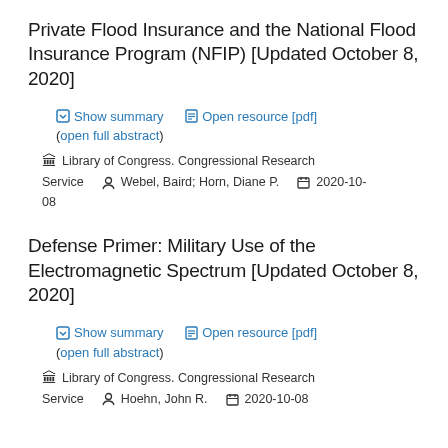Private Flood Insurance and the National Flood Insurance Program (NFIP) [Updated October 8, 2020]
Show summary   Open resource [pdf]   (open full abstract)   Library of Congress. Congressional Research Service   Webel, Baird; Horn, Diane P.   2020-10-08
Defense Primer: Military Use of the Electromagnetic Spectrum [Updated October 8, 2020]
Show summary   Open resource [pdf]   (open full abstract)   Library of Congress. Congressional Research Service   Hoehn, John R.   2020-10-08